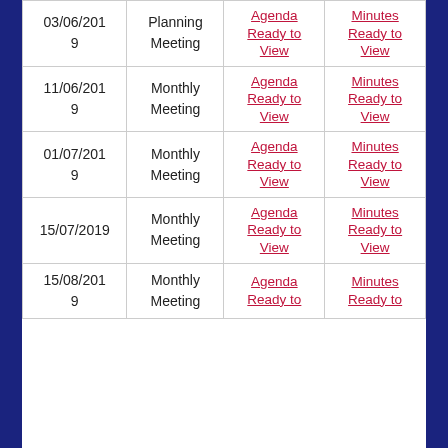| Date | Type | Agenda | Minutes |
| --- | --- | --- | --- |
| 03/06/2019 | Planning Meeting | Agenda Ready to View | Minutes Ready to View |
| 11/06/2019 | Monthly Meeting | Agenda Ready to View | Minutes Ready to View |
| 01/07/2019 | Monthly Meeting | Agenda Ready to View | Minutes Ready to View |
| 15/07/2019 | Monthly Meeting | Agenda Ready to View | Minutes Ready to View |
| 15/08/2019 | Monthly Meeting | Agenda Ready to View | Minutes Ready to View |